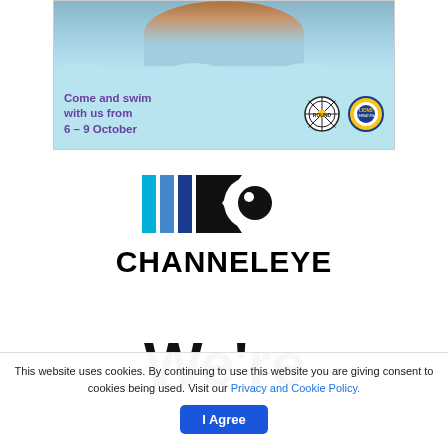[Figure (infographic): Swimming event advertisement banner. Light blue background with photo of smiling person in swim cap at top. Text reads 'Come and swim with us from 6 – 9 October' in purple. Roundtable and Lions International logos on right.]
[Figure (logo): Channel Eye logo: stylized eye/K shape in blue and black colors, with text 'CHANNELEYE' in bold black letters below.]
We're
This website uses cookies. By continuing to use this website you are giving consent to cookies being used. Visit our Privacy and Cookie Policy.
I Agree